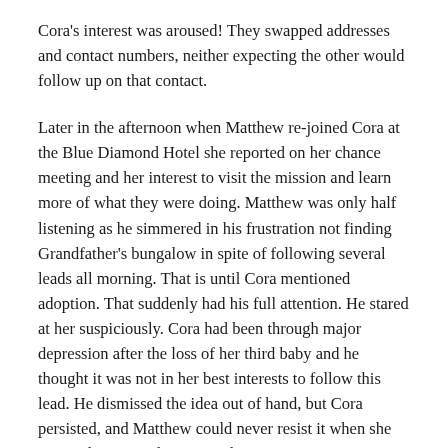Cora's interest was aroused! They swapped addresses and contact numbers, neither expecting the other would follow up on that contact.
Later in the afternoon when Matthew re-joined Cora at the Blue Diamond Hotel she reported on her chance meeting and her interest to visit the mission and learn more of what they were doing. Matthew was only half listening as he simmered in his frustration not finding Grandfather's bungalow in spite of following several leads all morning. That is until Cora mentioned adoption. That suddenly had his full attention. He stared at her suspiciously. Cora had been through major depression after the loss of her third baby and he thought it was not in her best interests to follow this lead. He dismissed the idea out of hand, but Cora persisted, and Matthew could never resist it when she was enthusiastic about something.